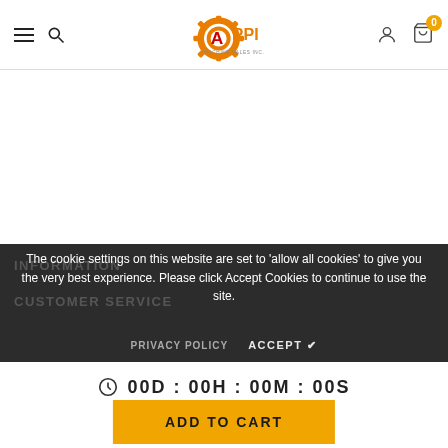ARPI Machine Sales Inc. — Navigation header with hamburger menu, search, logo, account, and cart (0 items)
[Figure (logo): ARPI Machine Sales Inc. orange gear logo with red accent]
The cookie settings on this website are set to 'allow all cookies' to give you the very best experience. Please click Accept Cookies to continue to use the site.
PRIVACY POLICY   ACCEPT ✔
INFORMATION
CUSTOMER SERVICE
00D : 00H : 00M : 00S
ADD TO CART